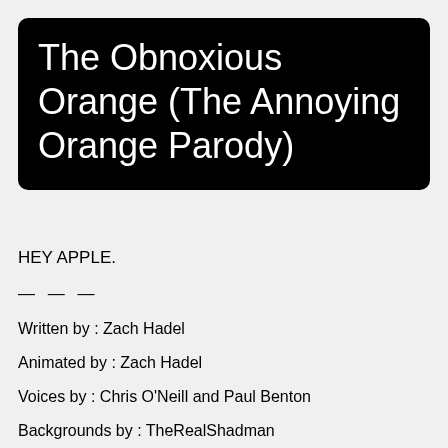The Obnoxious Orange (The Annoying Orange Parody)
HEY APPLE.
— — —
Written by : Zach Hadel
Animated by : Zach Hadel
Voices by : Chris O'Neill and Paul Benton
Backgrounds by : TheRealShadman